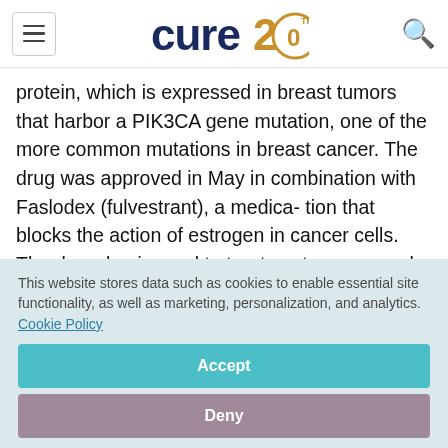cure 20th anniversary logo
protein, which is expressed in breast tumors that harbor a PIK3CA gene mutation, one of the more common mutations in breast cancer. The drug was approved in May in combination with Faslodex (fulvestrant), a medica- tion that blocks the action of estrogen in cancer cells. The drug duo is used to treat postmenopausal women or men with HR-
This website stores data such as cookies to enable essential site functionality, as well as marketing, personalization, and analytics. Cookie Policy
Accept
Deny